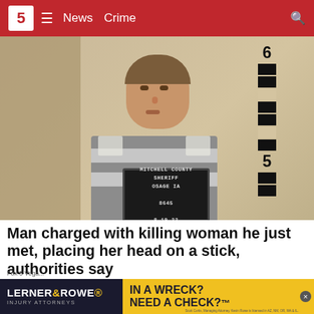5 News Crime
[Figure (photo): Mugshot of a young man holding a sign reading MITCHELL COUNTY SHERIFF OSAGE IA 8645 8-19-22, standing against a height measurement wall]
Man charged with killing woman he just met, placing her head on a stick, authorities say
A man in Iowa is facing charges in connection to the disappearance and death of a woman he had just met,  poli...
Fox 5 Vega... LERNER&ROWE INJURY ATTORNEYS IN A WRECK? NEED A CHECK?